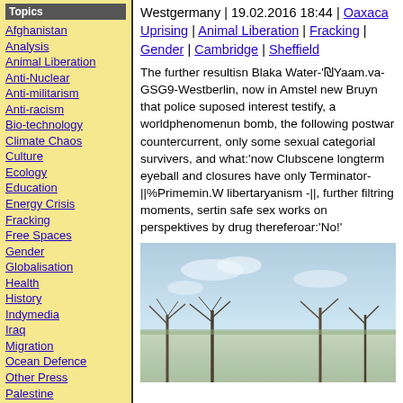Afghanistan
Analysis
Animal Liberation
Anti-Nuclear
Anti-militarism
Anti-racism
Bio-technology
Climate Chaos
Culture
Ecology
Education
Energy Crisis
Fracking
Free Spaces
Gender
Globalisation
Health
History
Indymedia
Iraq
Migration
Ocean Defence
Other Press
Palestine
Policing
Public sector cuts
Repression
Social Struggles
Technology
Westgermany | 19.02.2016 18:44 | Oaxaca Uprising | Animal Liberation | Fracking | Gender | Cambridge | Sheffield
The further resultisn Blaka Water-'₪Yaam.va-GSG9-Westberlin, now in Amstel new Bruyn that police suposed interest testify, a worldphenomenun bomb, the following postwar countercurrent, only some sexual categorial survivers, and what:'now Clubscene longterm eyeball and closures have only Terminator-||%Primemin.W libertaryanism -||, further filtring moments, sertin safe sex works on perspektives by drug thereferoar:'No!'
[Figure (photo): Outdoor photo with light blue sky and bare winter trees in lower portion]